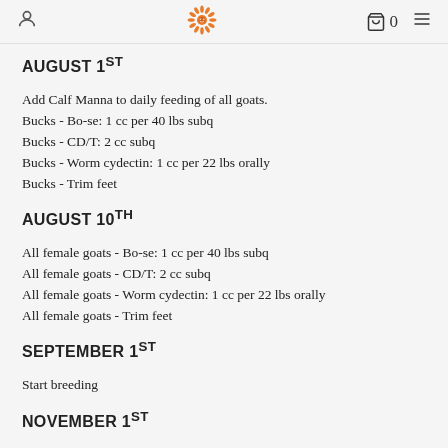[user icon] [sunflower logo] [cart icon] 0 [menu icon]
AUGUST 1ST
Add Calf Manna to daily feeding of all goats.
Bucks - Bo-se: 1 cc per 40 lbs subq
Bucks - CD/T: 2 cc subq
Bucks - Worm cydectin: 1 cc per 22 lbs orally
Bucks - Trim feet
AUGUST 10TH
All female goats - Bo-se: 1 cc per 40 lbs subq
All female goats - CD/T: 2 cc subq
All female goats - Worm cydectin: 1 cc per 22 lbs orally
All female goats - Trim feet
SEPTEMBER 1ST
Start breeding
NOVEMBER 1ST